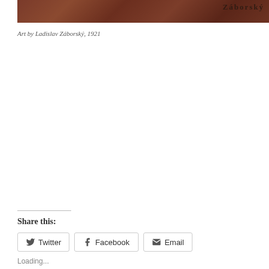[Figure (photo): Cropped image strip showing reddish-brown artwork with text reading 'Záborský' visible on the right side]
Art by Ladislav Záborský, 1921
Share this:
Twitter  Facebook  Email
Loading...